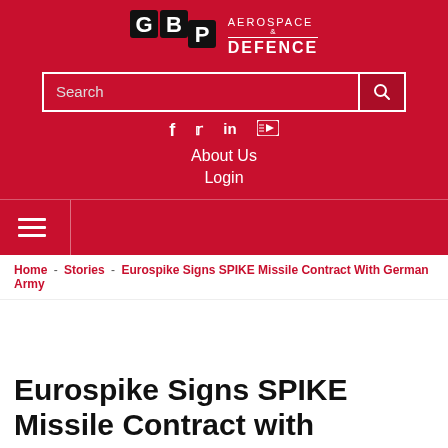[Figure (logo): GBP Aerospace & Defence logo with red background, white text]
Search
f  Twitter  in  YouTube
About Us
Login
Home - Stories - Eurospike Signs SPIKE Missile Contract With German Army
Eurospike Signs SPIKE Missile Contract with German Army